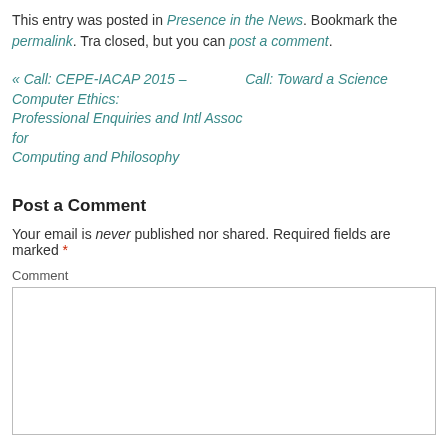This entry was posted in Presence in the News. Bookmark the permalink. Trackbacks are closed, but you can post a comment.
« Call: CEPE-IACAP 2015 – Computer Ethics: Professional Enquiries and Intl Assoc for Computing and Philosophy
Call: Toward a Science
Post a Comment
Your email is never published nor shared. Required fields are marked *
Comment